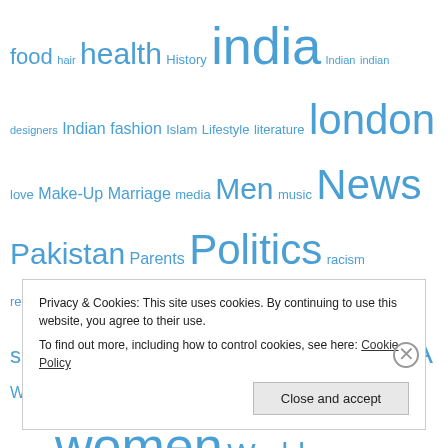food hair health History india Indian indian designers Indian fashion Islam Lifestyle literature london love Make-Up Marriage media Men music News Pakistan Parents Politics racism relationships religion restaurant review Sari Selfridges Sex Sexism shopping Sport style Sufi things to do UK USA Wedding WIFW Wills Lifestyle Wills Lifestyle India Fashion Week women World news
Privacy & Cookies: This site uses cookies. By continuing to use this website, you agree to their use. To find out more, including how to control cookies, see here: Cookie Policy Close and accept